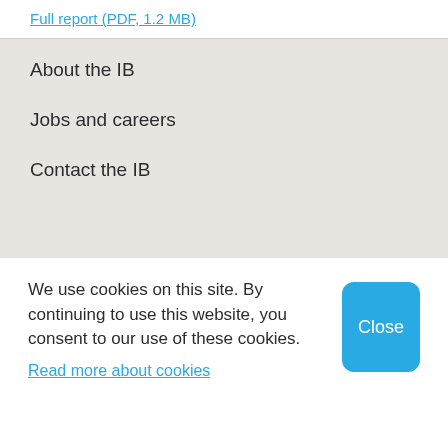Full report (PDF, 1.2 MB)
About the IB
Jobs and careers
Contact the IB
We use cookies on this site. By continuing to use this website, you consent to our use of these cookies.
Read more about cookies
Close